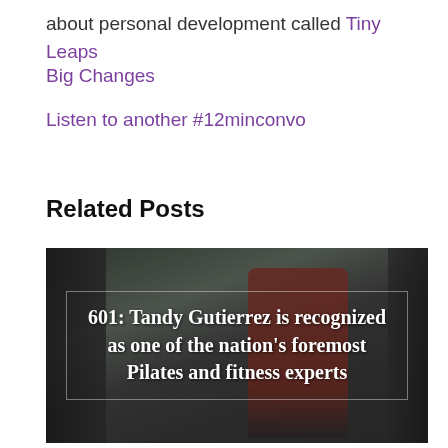about personal development called Tiny Leaps Big Changes
Listen to another #12minconvo
Related Posts
[Figure (photo): Dark atmospheric photo of a woman in a red outfit standing near curtained windows, overlaid with white bold text in a thin-border box reading '601: Tandy Gutierrez is recognized as one of the nation's foremost Pilates and fitness experts']